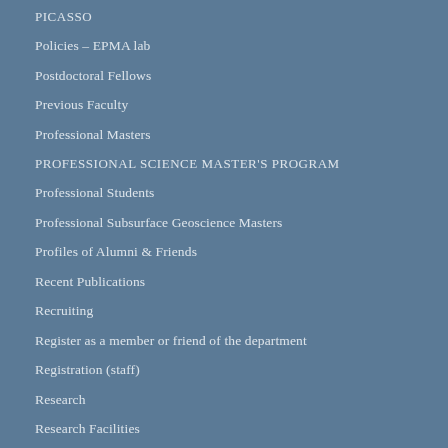PICASSO
Policies – EPMA lab
Postdoctoral Fellows
Previous Faculty
Professional Masters
PROFESSIONAL SCIENCE MASTER'S PROGRAM
Professional Students
Professional Subsurface Geoscience Masters
Profiles of Alumni & Friends
Recent Publications
Recruiting
Register as a member or friend of the department
Registration (staff)
Research
Research Facilities
Research Groups
Research Scientists